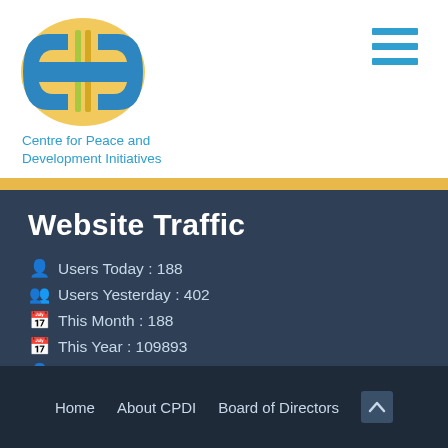[Figure (logo): CPDI logo — stylized blue and yellow shield/chain-links icon with 'CIP' letters]
Centre for Peace and Development Initiatives
Website Traffic
Users Today : 188
Users Yesterday : 402
This Month : 188
This Year : 109893
Who's Online : 9
Home   About CPDI   Board of Directors